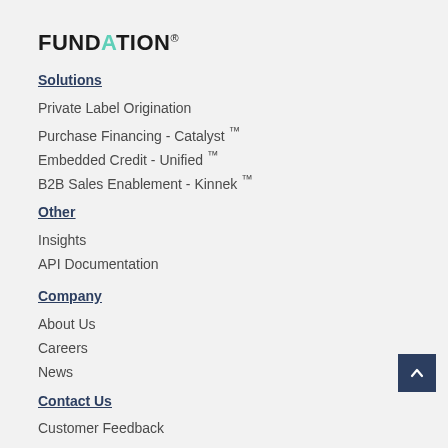FUNDATION®
Solutions
Private Label Origination
Purchase Financing - Catalyst ™
Embedded Credit - Unified ™
B2B Sales Enablement - Kinnek ™
Other
Insights
API Documentation
Company
About Us
Careers
News
Contact Us
Customer Feedback
Contact Us